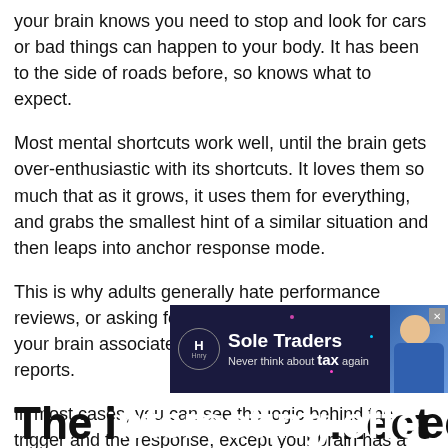your brain knows you need to stop and look for cars or bad things can happen to your body. It has been to the side of roads before, so knows what to expect.
Most mental shortcuts work well, until the brain gets over-enthusiastic with its shortcuts. It loves them so much that as it grows, it uses them for everything, and grabs the smallest hint of a similar situation and then leaps into anchor response mode.
This is why adults generally hate performance reviews, or asking for feedback or testimonials – your brain associates it with waiting for school reports.
In most cases, you can see the logic behind the trigger and the response, except your brain has a nasty habit of taking it to the extreme.
[Figure (infographic): Advertisement overlay: Sole Traders - Never think about tax again, with Hnry logo and woman photo, dark navy background, close button]
The i...ect